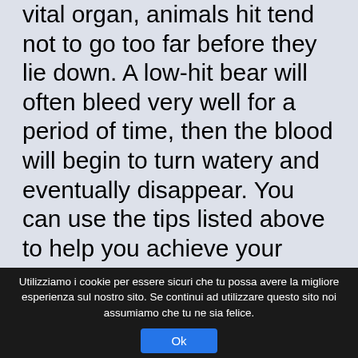vital organ, animals hit tend not to go too far before they lie down. A low-hit bear will often bleed very well for a period of time, then the blood will begin to turn watery and eventually disappear. You can use the tips listed above to help you achieve your goal, whether you want to shoot a bow or kill a bear with a gun. Direct punches and kicks at the bear's face, and use any weapon like rocks, branches, or bear spray to defend yourself. He was only 11 yards away when I drew the bow and looked through the peep. So, where should we try to put our bullet
Utilizziamo i cookie per essere sicuri che tu possa avere la migliore esperienza sul nostro sito. Se continui ad utilizzare questo sito noi assumiamo che tu ne sia felice.
Ok